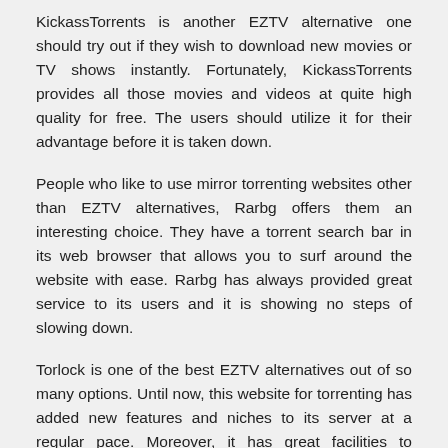KickassTorrents is another EZTV alternative one should try out if they wish to download new movies or TV shows instantly. Fortunately, KickassTorrents provides all those movies and videos at quite high quality for free. The users should utilize it for their advantage before it is taken down.
People who like to use mirror torrenting websites other than EZTV alternatives, Rarbg offers them an interesting choice. They have a torrent search bar in its web browser that allows you to surf around the website with ease. Rarbg has always provided great service to its users and it is showing no steps of slowing down.
Torlock is one of the best EZTV alternatives out of so many options. Until now, this website for torrenting has added new features and niches to its server at a regular pace. Moreover, it has great facilities to download your desired torrent files to feed your streaming cravings.
Conclusion:
EZTV has gained a lot of popularity because of its service for its